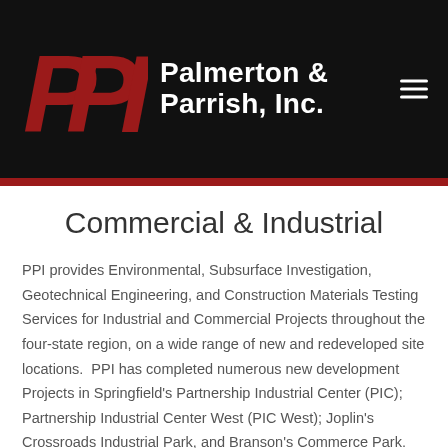[Figure (logo): PPi logo with red stylized letters and Palmerton & Parrish, Inc. company name on black header background]
Commercial & Industrial
PPI provides Environmental, Subsurface Investigation, Geotechnical Engineering, and Construction Materials Testing Services for Industrial and Commercial Projects throughout the four-state region, on a wide range of new and redeveloped site locations.  PPI has completed numerous new development Projects in Springfield's Partnership Industrial Center (PIC); Partnership Industrial Center West (PIC West); Joplin's Crossroads Industrial Park, and Branson's Commerce Park.